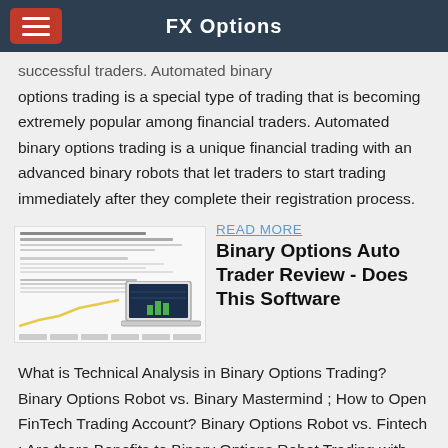FX Options
successful traders. Automated binary options trading is a special type of trading that is becoming extremely popular among financial traders. Automated binary options trading is a unique financial trading with an advanced binary robots that let traders to start trading immediately after they complete their registration process.
[Figure (screenshot): Thumbnail image of a financial trading software page showing a laptop with a chart and text content]
READ MORE
Binary Options Auto Trader Review - Does This Software
What is Technical Analysis in Binary Options Trading? Binary Options Robot vs. Binary Mastermind ; How to Open FinTech Trading Account? Binary Options Robot vs. Fintech ; Are there Benefits to Binary Options Robot Trading with Multiple Brokers? OptionStars Supports Auto Trading ; Where to Get Free Binary Options Signals? Binary Options Robot